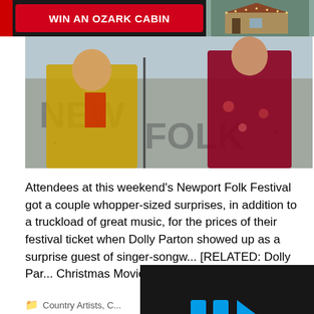[Figure (photo): Advertisement banner: dark background with red button reading 'WIN AN OZARK CABIN' and an image of a cabin on the right]
[Figure (photo): Photo of two performers on stage at Newport Folk Festival; one in yellow traditional costume, one in red traditional costume, with 'NEW FOLK' text visible in background]
Attendees at this weekend's Newport Folk Festival got a couple whopper-sized surprises, in addition to a truckload of great music, for the prices of their festival ticket when Dolly Parton showed up as a surprise guest of singer-songw... [RELATED: Dolly Par... Christmas Movie, "Ch... Danica McKellar] …
[Figure (screenshot): Video player overlay with dark background and blue play/pause icon]
Country Artists, C...